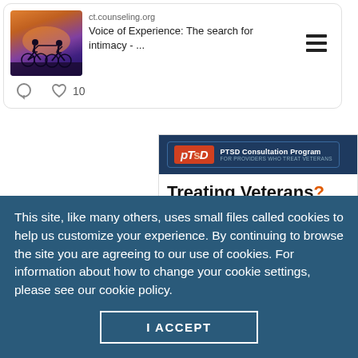[Figure (screenshot): Social media card with photo of two cyclists silhouetted at sunset, showing link to ct.counseling.org article 'Voice of Experience: The search for intimacy - ...' with comment and like icons (10 likes), and hamburger menu icon]
[Figure (screenshot): PTSD Consultation Program advertisement banner with logo, headline 'Treating Veterans? We can help.' and 'LEARN MORE' button on blue background]
This site, like many others, uses small files called cookies to help us customize your experience. By continuing to browse the site you are agreeing to our use of cookies. For information about how to change your cookie settings, please see our cookie policy.
I ACCEPT